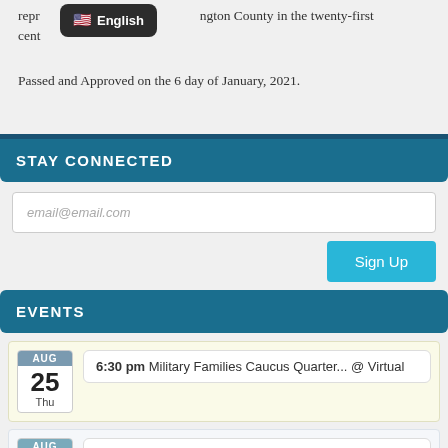repr... ngton County in the twenty-first cent...
[Figure (screenshot): Language selector popup showing US flag and 'English' text on dark rounded background]
Passed and Approved on the 6 day of January, 2021.
STAY CONNECTED
email@email.com
Sign Up
EVENTS
AUG 25 Thu — 6:30 pm Military Families Caucus Quarter... @ Virtual
AUG — 6:30 pm Future of Democratic Party, Pane... @ virtual